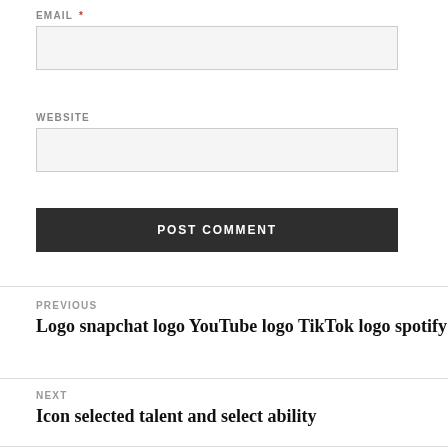EMAIL *
WEBSITE
POST COMMENT
PREVIOUS
Logo snapchat logo YouTube logo TikTok logo spotify
NEXT
Icon selected talent and select ability